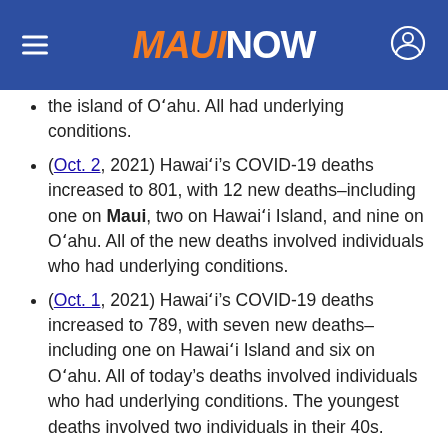MAUI NOW
the island of O‘ahu. All had underlying conditions.
(Oct. 2, 2021) Hawai‘i’s COVID-19 deaths increased to 801, with 12 new deaths–including one on Maui, two on Hawai‘i Island, and nine on O‘ahu. All of the new deaths involved individuals who had underlying conditions.
(Oct. 1, 2021) Hawai‘i’s COVID-19 deaths increased to 789, with seven new deaths–including one on Hawai‘i Island and six on O‘ahu. All of today’s deaths involved individuals who had underlying conditions. The youngest deaths involved two individuals in their 40s.
(Sept. 30, 2021) Hawai‘i’s COVID-19 deaths increased to 782, with 12 new deaths–including two on Hawai‘i Island and 10 on O‘ahu. T…